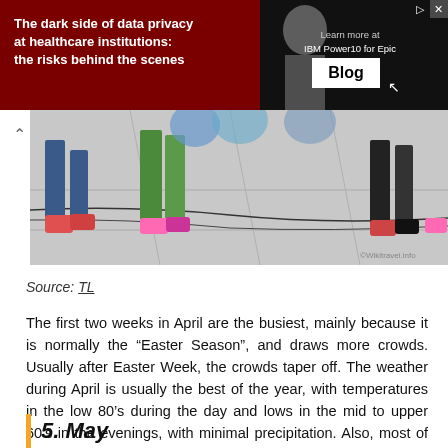[Figure (infographic): Red advertisement banner for IBM Power10 for Epic, featuring text 'The dark side of data privacy at healthcare institutions: the risks behind the scenes', with a person photo and Blog button on the right side]
[Figure (photo): Photo strip showing people's legs and feet walking on a paved surface, some wearing colorful costumes or outfits]
Source: TL
The first two weeks in April are the busiest, mainly because it is normally the “Easter Season”, and draws more crowds. Usually after Easter Week, the crowds taper off. The weather during April is usually the best of the year, with temperatures in the low 80’s during the day and lows in the mid to upper 60’s in the evenings, with minimal precipitation. Also, most of the parks have extended magic hours for Resort guests.
5. May